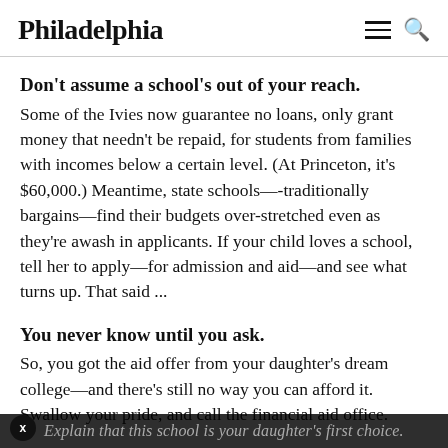Philadelphia
Don't assume a school's out of your reach.
Some of the Ivies now guarantee no loans, only grant money that needn't be repaid, for students from families with incomes below a certain level. (At Princeton, it's $60,000.) Meantime, state schools—-traditionally bargains—find their budgets over-stretched even as they're awash in applicants. If your child loves a school, tell her to apply—for admission and aid—and see what turns up. That said ...
You never know until you ask.
So, you got the aid offer from your daughter's dream college—and there's still no way you can afford it. Swallow your pride, and call the financial aid office. Explain that this school is your daughter's first choice.